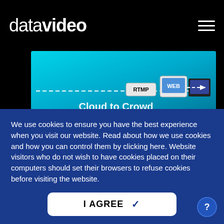datavideo
[Figure (screenshot): Datavideo cloud streaming product banner showing RTMP to WEB workflow with 'Cloud to Crowd' text on cyan/teal background]
We use cookies to ensure you have the best experience when you visit our website. Read about how we use cookies and how you can control them by clicking here. Website visitors who do not wish to have cookies placed on their computers should set their browsers to refuse cookies before visiting the website.
I AGREE ✓